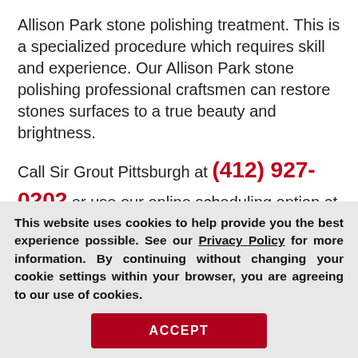Allison Park stone polishing treatment. This is a specialized procedure which requires skill and experience. Our Allison Park stone polishing professional craftsmen can restore stones surfaces to a true beauty and brightness.
Call Sir Grout Pittsburgh at (412) 927-0202 or use our online scheduling option at the top of this page for a free quote, and enjoy an unparalleled Allison Park stone polishing service from home or business.
[Figure (other): Partially visible red popup button labeled 'Request a Free' with a close X icon, overlapping the main text area]
This website uses cookies to help provide you the best experience possible. See our Privacy Policy for more information. By continuing without changing your cookie settings within your browser, you are agreeing to our use of cookies.